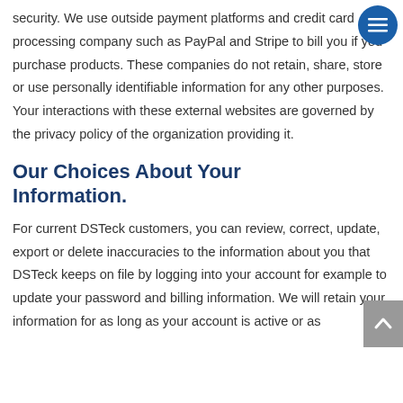security. We use outside payment platforms and credit card processing company such as PayPal and Stripe to bill you if you purchase products. These companies do not retain, share, store or use personally identifiable information for any other purposes. Your interactions with these external websites are governed by the privacy policy of the organization providing it.
Our Choices About Your Information.
For current DSTeck customers, you can review, correct, update, export or delete inaccuracies to the information about you that DSTeck keeps on file by logging into your account for example to update your password and billing information. We will retain your information for as long as your account is active or as